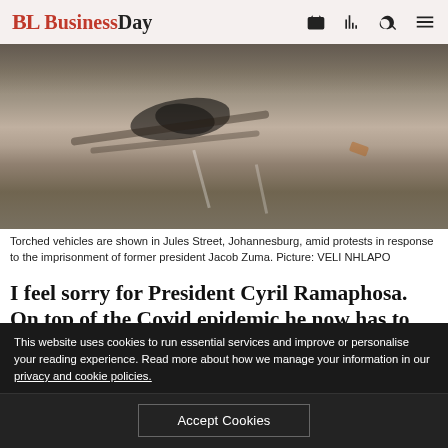BL BusinessDay
[Figure (photo): Street scene showing torched/burnt areas on Jules Street, Johannesburg, with people visible at the top of the frame amid protests]
Torched vehicles are shown in Jules Street, Johannesburg, amid protests in response to the imprisonment of former president Jacob Zuma. Picture: VELI NHLAPO
I feel sorry for President Cyril Ramaphosa. On top of the Covid epidemic he now has to deal with widespread unrest. He should bring out the dogs and shotguns, but of course he can't.
This website uses cookies to run essential services and improve or personalise your reading experience. Read more about how we manage your information in our privacy and cookie policies.
Accept Cookies